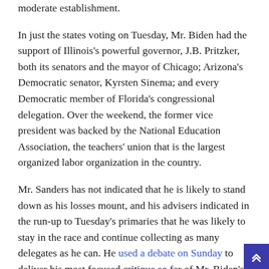moderate establishment.
In just the states voting on Tuesday, Mr. Biden had the support of Illinois's powerful governor, J.B. Pritzker, both its senators and the mayor of Chicago; Arizona's Democratic senator, Kyrsten Sinema; and every Democratic member of Florida's congressional delegation. Over the weekend, the former vice president was backed by the National Education Association, the teachers' union that is the largest organized labor organization in the country.
Mr. Sanders has not indicated that he is likely to stand down as his losses mount, and his advisers indicated in the run-up to Tuesday's primaries that he was likely to stay in the race and continue collecting as many delegates as he can. He used a debate on Sunday to deliver his most focused critique so far of Mr. Biden's policy record and